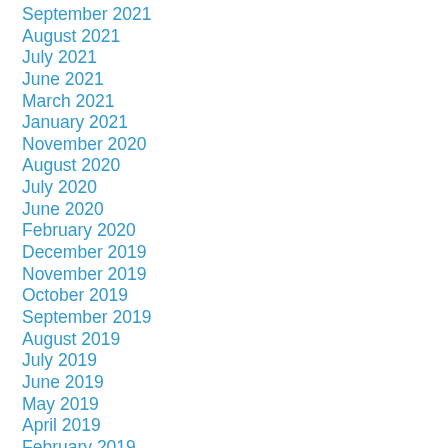September 2021
August 2021
July 2021
June 2021
March 2021
January 2021
November 2020
August 2020
July 2020
June 2020
February 2020
December 2019
November 2019
October 2019
September 2019
August 2019
July 2019
June 2019
May 2019
April 2019
February 2019